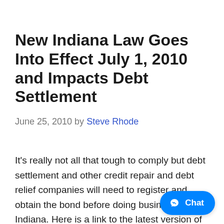New Indiana Law Goes Into Effect July 1, 2010 and Impacts Debt Settlement
June 25, 2010 by Steve Rhode
It's really not all that tough to comply but debt settlement and other credit repair and debt relief companies will need to register and obtain the bond before doing business in Indiana. Here is a link to the latest version of the law so helpfully provided by Pamela Fratini, Esq. in her letter to me. …